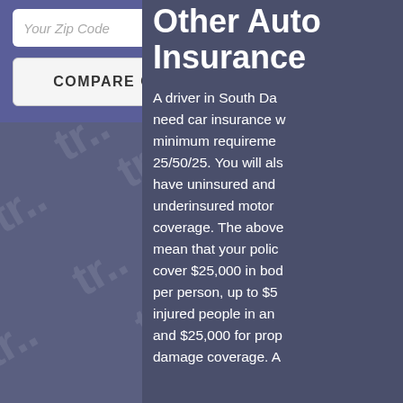Your Zip Code
COMPARE QUOTES
Other Auto Insurance
A driver in South Dakota need car insurance with minimum requirements of 25/50/25. You will also have uninsured and underinsured motorist coverage. The above mean that your policy cover $25,000 in bodily per person, up to $50,000 injured people in an accident and $25,000 for property damage coverage. A